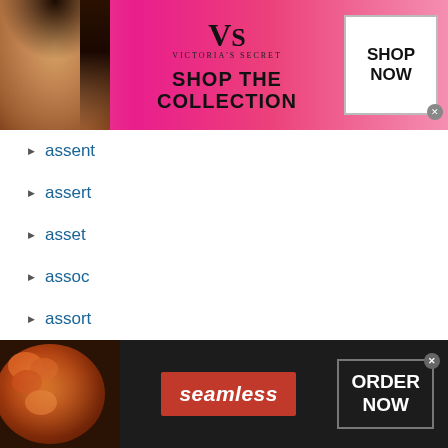[Figure (photo): Victoria's Secret advertisement banner with a woman model, VS logo, 'SHOP THE COLLECTION' text, and 'SHOP NOW' button]
assent
assert
asset
assoc
assort
more ▶
Privacy Policy
© 2011-2022 DomainOptions, Inc. Trademarks belong to their respective owners. All rights reserved.
[Figure (photo): Seamless food delivery advertisement with pizza image, red Seamless logo, and 'ORDER NOW' button on dark background]